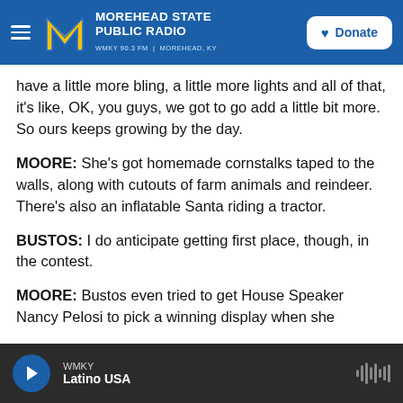Morehead State Public Radio — WMKY 90.3 FM | Morehead, KY
have a little more bling, a little more lights and all of that, it's like, OK, you guys, we got to go add a little bit more. So ours keeps growing by the day.
MOORE: She's got homemade cornstalks taped to the walls, along with cutouts of farm animals and reindeer. There's also an inflatable Santa riding a tractor.
BUSTOS: I do anticipate getting first place, though, in the contest.
MOORE: Bustos even tried to get House Speaker Nancy Pelosi to pick a winning display when she
WMKY — Latino USA